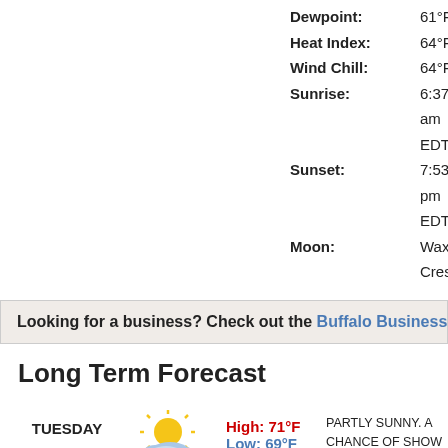Dewpoint: 61°F
Heat Index: 64°F
Wind Chill: 64°F
Sunrise: 6:37 am EDT
Sunset: 7:53 pm EDT
Moon: Waxing Cresc
Looking for a business? Check out the Buffalo Business Direc
Long Term Forecast
TUESDAY
[Figure (illustration): Partly sunny with rain clouds weather icon]
High: 71°F Low: 69°F
PARTLY SUNNY. A CHANCE OF SHOW MORNING. HIGHS RANGING FROM T ALONG THE LAKE ERIE SHORE TO A INLAND. LIGHT WINDS...BECOMING S AROUND 10 MPH. CHANCE OF RAIN A OVERNIGHT: MOSTLY CLOUDY WITH THUNDERSTORMS BECOMING LIKEL SOME THUNDERSTORMS MAY PROD WINDS OVERNIGHT. BREEZY WITH L UPPER 60S. LIGHT WINDS... BECOM 15 TO 20 MPH WITH GUSTS UP TO 3